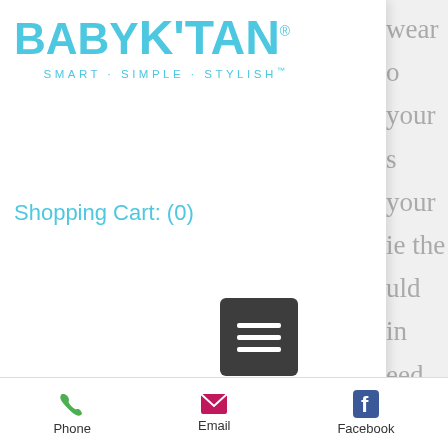[Figure (screenshot): Baby K'Tan website screenshot showing logo, shopping cart link, hamburger menu, and article text about nursing in the K'tan carrier]
BABY K'TAN® SMART · SIMPLE · STYLISH™
Shopping Cart: (0)
Wear One Loop
You may find that nursing in the K'tan is trickier for you. If you are unable to shift your baby to find a position which works for breastfeeding, try removing the outer loop from your shoulder (essentially wearing half of the carrier) and nursing in this manner. Removing the outer loop will loosen the carrier a bit...
Phone    Email    Facebook